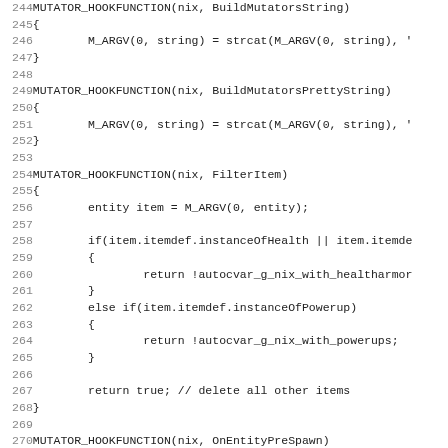[Figure (screenshot): Source code listing showing lines 244-275 of a C/C++ file with MUTATOR_HOOKFUNCTION definitions including BuildMutatorsString, BuildMutatorsPrettyString, FilterItem, and OnEntityPreSpawn functions.]